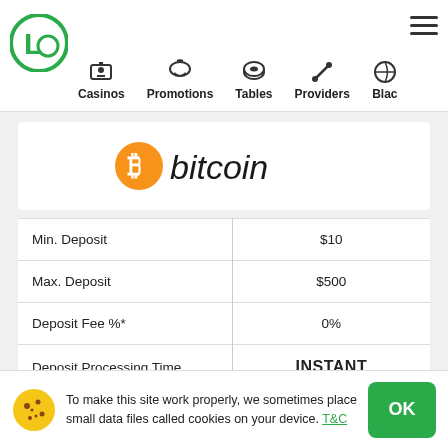Casinos | Promotions | Tables | Providers | Blac
[Figure (logo): Bitcoin logo: orange circle with B symbol followed by 'bitcoin' text in dark gray]
|  |  |
| --- | --- |
| Min. Deposit | $10 |
| Max. Deposit | $500 |
| Deposit Fee %* | 0% |
| Deposit Processing Time | INSTANT |
| Min. Withdrawal | $10 |
| Withdrawal Fee %* | 0% |
To make this site work properly, we sometimes place small data files called cookies on your device. T&C